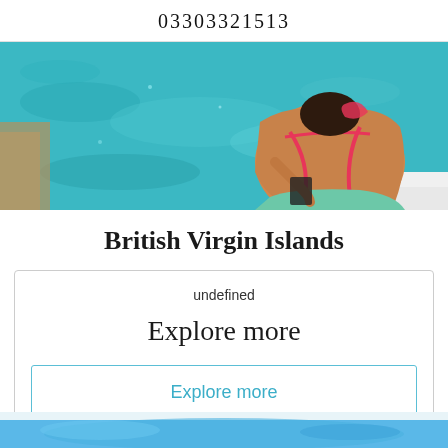03303321513
[Figure (photo): Woman in pink and green bikini sitting on edge of boat looking at turquoise tropical water, viewed from behind]
British Virgin Islands
undefined
Explore more
Explore more
[Figure (photo): Partial view of a tropical beach scene at the bottom of the page]